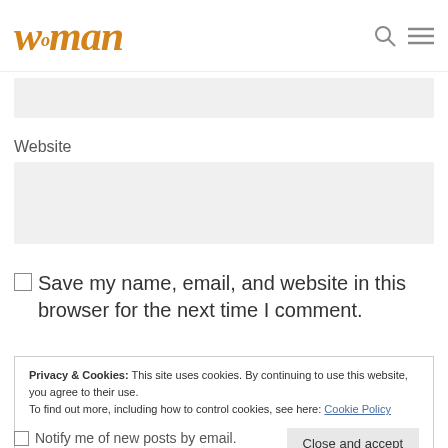woman
[Figure (other): Email input field (grey background text box)]
Website
[Figure (other): Website input field (grey background text box)]
Save my name, email, and website in this browser for the next time I comment.
Privacy & Cookies: This site uses cookies. By continuing to use this website, you agree to their use. To find out more, including how to control cookies, see here: Cookie Policy
Notify me of new posts by email.